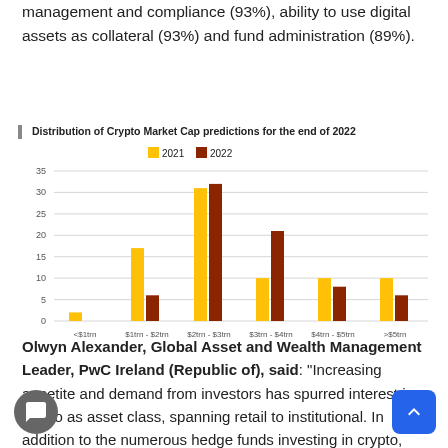management and compliance (93%), ability to use digital assets as collateral (93%) and fund administration (89%).
[Figure (grouped-bar-chart): Distribution of Crypto Market Cap predictions for the end of 2022]
Olwyn Alexander, Global Asset and Wealth Management Leader, PwC Ireland (Republic of), said: "Increasing appetite and demand from investors has spurred interest in crypto as asset class, spanning retail to institutional. In addition to the numerous hedge funds investing in crypto, many larger